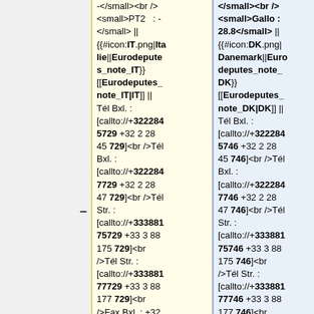-</small><br />
<small>PT2 : -</small> ||
{{#icon:IT.png|Italie||Eurodeputes_note_IT}}
[[Eurodeputes_note_IT|IT]] ||
Tél Bxl. :
[callto://+3222845729 +32 2 28 45 729]<br />Tél Bxl. :
[callto://+3222847729 +32 2 28 47 729]<br />Tél Str. :
[callto://+33388175729 +33 3 88 175 729]<br />Tél Str. :
[callto://+33388177729 +33 3 88 177 729]<br />Fax Bxl. : +32
</small><br />
<small>Gallo : 28.8</small> ||
{{#icon:DK.png|Danemark||Eurodeputes_note_DK}}
[[Eurodeputes_note_DK|DK]] ||
Tél Bxl. :
[callto://+3222845746 +32 2 28 45 746]<br />Tél Bxl. :
[callto://+3222847746 +32 2 28 47 746]<br />Tél Str. :
[callto://+33388175746 +33 3 88 175 746]<br />Tél Str. :
[callto://+33388177746 +33 3 88 177 746]<br />